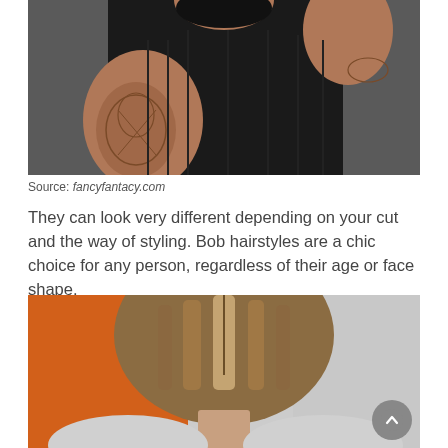[Figure (photo): Close-up photo of a person wearing a black sleeveless top, showing tattoos on their arm and hand raised near their head, with tattoos visible on the wrist area against a gray background.]
Source: fancyfantacy.com
They can look very different depending on your cut and the way of styling. Bob hairstyles are a chic choice for any person, regardless of their age or face shape.
[Figure (photo): Back view of a person with straight brown hair styled in a bob cut, with an orange and gray background visible.]